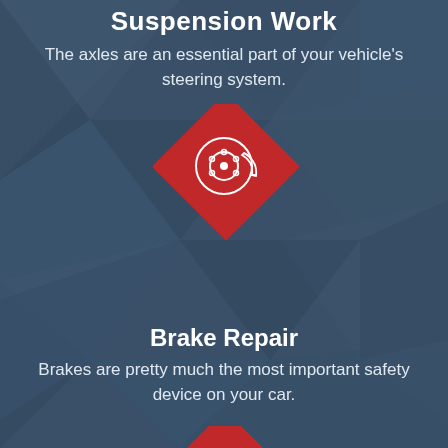Suspension Work
The axles are an essential part of your vehicle's steering system.
[Figure (illustration): Red diamond-shaped icon with a brake rotor/disc illustration in white]
Brake Repair
Brakes are pretty much the most important safety device on your car.
[Figure (illustration): Red diamond-shaped icon partially visible at bottom, with a wrench/tool illustration in white]